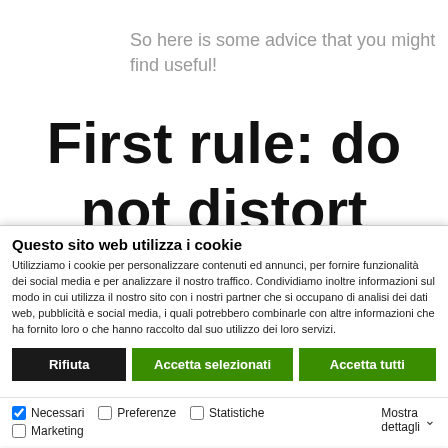So here is some advice that you might find useful!
First rule: do not distort
Questo sito web utilizza i cookie
Utilizziamo i cookie per personalizzare contenuti ed annunci, per fornire funzionalità dei social media e per analizzare il nostro traffico. Condividiamo inoltre informazioni sul modo in cui utilizza il nostro sito con i nostri partner che si occupano di analisi dei dati web, pubblicità e social media, i quali potrebbero combinarle con altre informazioni che ha fornito loro o che hanno raccolto dal suo utilizzo dei loro servizi.
Rifiuta | Accetta selezionati | Accetta tutti
Necessari | Preferenze | Statistiche | Marketing | Mostra dettagli